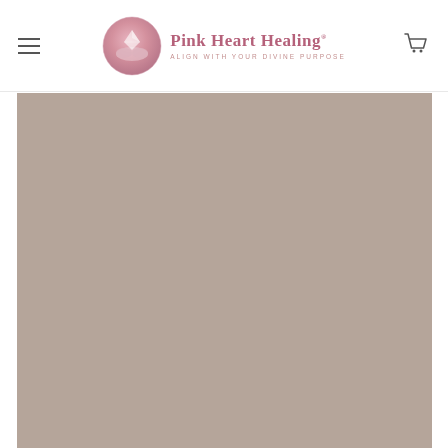Pink Heart Healing — ALIGN WITH YOUR DIVINE PURPOSE
[Figure (photo): Large taupe/mauve colored hero image placeholder block below the navigation header]